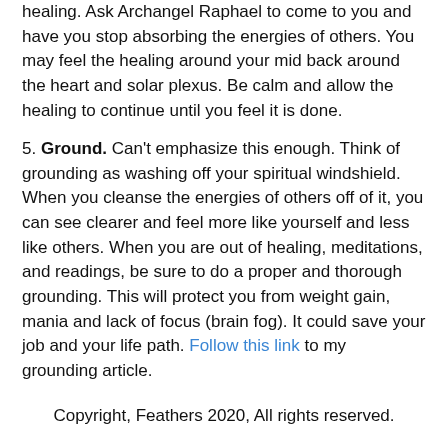healing. Ask Archangel Raphael to come to you and have you stop absorbing the energies of others. You may feel the healing around your mid back around the heart and solar plexus. Be calm and allow the healing to continue until you feel it is done.
5. Ground. Can't emphasize this enough. Think of grounding as washing off your spiritual windshield. When you cleanse the energies of others off of it, you can see clearer and feel more like yourself and less like others. When you are out of healing, meditations, and readings, be sure to do a proper and thorough grounding. This will protect you from weight gain, mania and lack of focus (brain fog). It could save your job and your life path. Follow this link to my grounding article.
Copyright, Feathers 2020, All rights reserved.